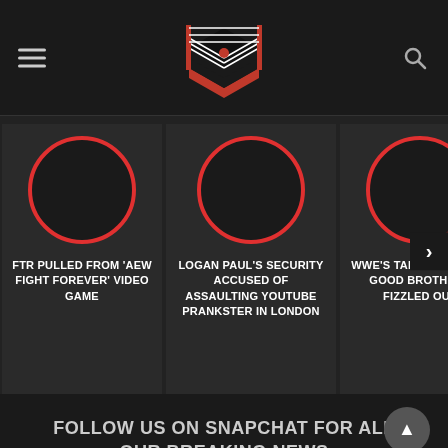[Figure (logo): Wrestling news website logo — a red and black wrestling ring icon with ropes, centered in dark header with hamburger menu left and search icon right]
[Figure (infographic): Horizontal scrollable card carousel with three visible cards and one partial card. Each card has a red-outlined circle (placeholder image) and an uppercase headline. Card 1: FTR PULLED FROM 'AEW FIGHT FOREVER' VIDEO GAME. Card 2: LOGAN PAUL'S SECURITY ACCUSED OF ASSAULTING YOUTUBE PRANKSTER IN LONDON. Card 3: WWE'S TALKS WITH THE GOOD BROTHERS FIZZLED OUT. Partial card 4 partially visible. Next arrow on right.]
FOLLOW US ON SNAPCHAT FOR ALL OUR BREAKING NEWS
HOME > WWE NEWS >
[Figure (screenshot): Bottom strip showing partial thumbnail images of wrestling news articles]